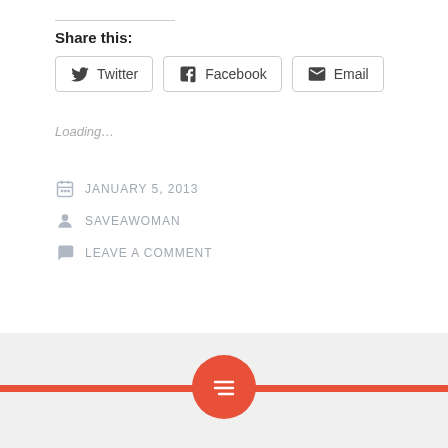Share this:
[Figure (other): Share buttons for Twitter, Facebook, and Email]
Loading...
JANUARY 5, 2013
SAVEAWOMAN
LEAVE A COMMENT
Footer with red line and menu icon circle